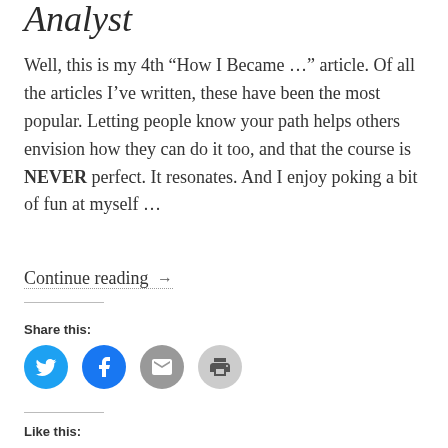Analyst
Well, this is my 4th “How I Became …” article. Of all the articles I’ve written, these have been the most popular. Letting people know your path helps others envision how they can do it too, and that the course is NEVER perfect. It resonates. And I enjoy poking a bit of fun at myself …
Continue reading →
Share this:
[Figure (infographic): Four circular social sharing buttons: Twitter (blue), Facebook (blue), Email (grey), Print (light grey)]
Like this: